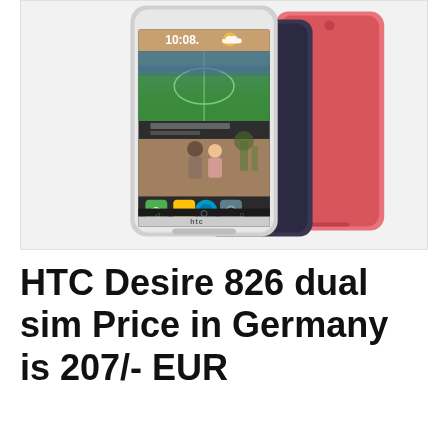[Figure (photo): HTC Desire 826 dual sim smartphones shown from the front and back. The front-facing phone displays the HTC BlinkFeed homescreen with a football stadium wallpaper, clock showing 10:08, and a photos app open showing a couple. A darker phone (purple/violet) and a pink phone are shown behind/beside it.]
HTC Desire 826 dual sim Price in Germany is 207/- EUR